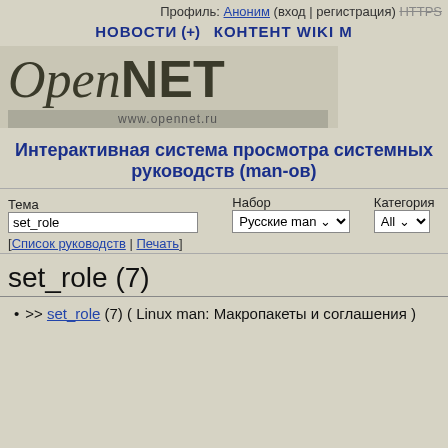Профиль: Аноним (вход | регистрация) HTTPS
НОВОСТИ (+) КОНТЕНТ WIKI М
[Figure (logo): OpenNET logo with www.opennet.ru URL]
Интерактивная система просмотра системных руководств (man-ов)
Тема: set_role | Набор: Русские man | Категория: All
[Список руководств | Печать]
set_role (7)
>> set_role (7) ( Linux man: Макропакеты и соглашения )